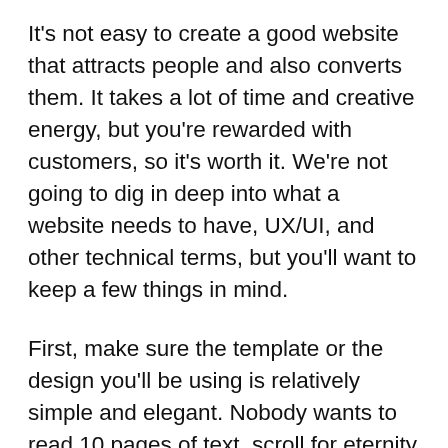It's not easy to create a good website that attracts people and also converts them. It takes a lot of time and creative energy, but you're rewarded with customers, so it's worth it. We're not going to dig in deep into what a website needs to have, UX/UI, and other technical terms, but you'll want to keep a few things in mind.
First, make sure the template or the design you'll be using is relatively simple and elegant. Nobody wants to read 10 pages of text, scroll for eternity and wait 10 minutes for the page to load. Think of Apple, for example, they have an incredible website and great copy too. Don't forget that your website needs to inform but also sell and if you want a really good and professional website